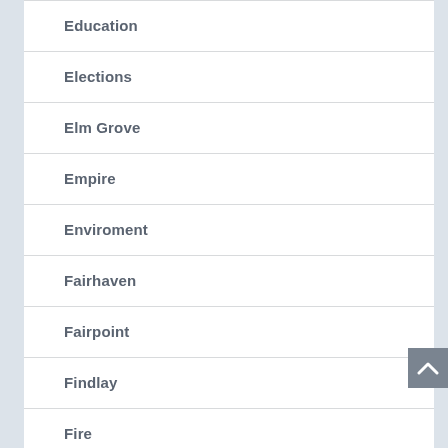Education
Elections
Elm Grove
Empire
Enviroment
Fairhaven
Fairpoint
Findlay
Fire